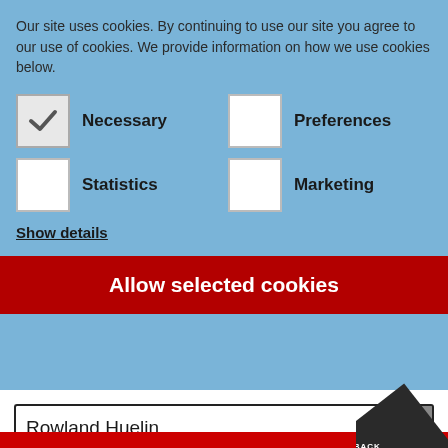Our site uses cookies. By continuing to use our site you agree to our use of cookies. We provide information on how we use cookies below.
Necessary
Preferences
Statistics
Marketing
Show details
Allow selected cookies
Rowland Huelin
12 results found